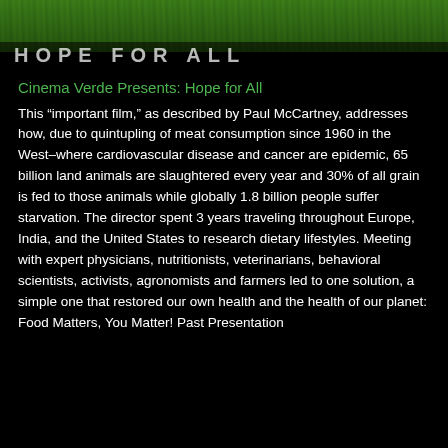[Figure (photo): Green grass background with overlaid bold text 'HOPE FOR ALL' partially visible]
Cinema Verde Presents: Hope for All
This “important film,” as described by Paul McCartney, addresses how, due to quintupling of meat consumption since 1960 in the West–where cardiovascular disease and cancer are epidemic, 65 billion land animals are slaughtered every year and 30% of all grain is fed to those animals while globally 1.8 billion people suffer starvation. The director spent 3 years traveling throughout Europe, India, and the United States to research dietary lifestyles. Meeting with expert physicians, nutritionists, veterinarians, behavioral scientists, activists, agronomists and farmers led to one solution, a simple one that restored our own health and the health of our planet: Food Matters, You Matter! Past Presentation